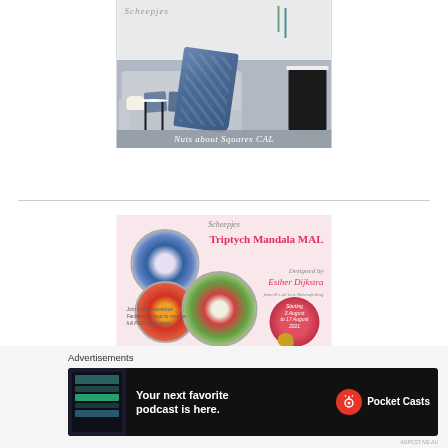[Figure (illustration): Scheepjes advertisement for 'Nuts about Squares CAL' showing a cozy living room scene with a blue crocheted blanket draped over a sofa, a cat, a round side table, and a dark cabinet. The Scheepjes logo appears at top left.]
[Figure (illustration): Scheepjes advertisement for 'Triptych Mandala MAL' on a pink background. Shows three colorful mandala designs (blue/white, red/orange, green/red). Text reads: Triptych Mandala MAL, Designed by Esther Dijkstra, from It's all in a Nutcraft blog. Date: starting 3 August to 17 August 2021.]
[Figure (illustration): Close/dismiss button (X in circle) for an advertisement overlay.]
Advertisements
[Figure (illustration): Pocket Casts advertisement with dark background. Shows app screenshot on left, bold white text 'Your next favorite podcast is here.' and Pocket Casts logo (red circle with antenna icon) on the right with brand name 'Pocket Casts'.]